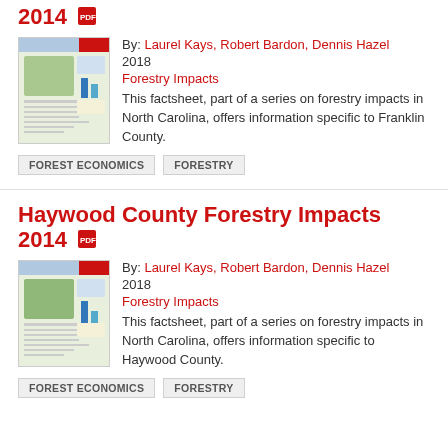2014
[Figure (thumbnail): Thumbnail of Franklin County Forestry Impacts factsheet document]
By: Laurel Kays, Robert Bardon, Dennis Hazel
2018
Forestry Impacts
This factsheet, part of a series on forestry impacts in North Carolina, offers information specific to Franklin County.
FOREST ECONOMICS
FORESTRY
Haywood County Forestry Impacts 2014
[Figure (thumbnail): Thumbnail of Haywood County Forestry Impacts factsheet document]
By: Laurel Kays, Robert Bardon, Dennis Hazel
2018
Forestry Impacts
This factsheet, part of a series on forestry impacts in North Carolina, offers information specific to Haywood County.
FOREST ECONOMICS
FORESTRY